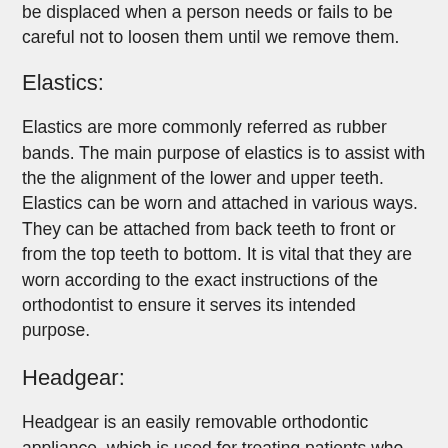be displaced when a person needs or fails to be careful not to loosen them until we remove them.
Elastics:
Elastics are more commonly referred as rubber bands. The main purpose of elastics is to assist with the the alignment of the lower and upper teeth. Elastics can be worn and attached in various ways. They can be attached from back teeth to front or from the top teeth to bottom. It is vital that they are worn according to the exact instructions of the orthodontist to ensure it serves its intended purpose.
Headgear:
Headgear is an easily removable orthodontic appliance, which is used for treating patients who suffer from an underbite or overbite.
It consists of a strap with elastics or springs, and a facebow which is made of metal. The facebow may be fitted to a retainer or to molar bands. Its main purpose is to exert pressure on the braces attached to specific teeth to help in jaw alignment. The amount of time required to wear the headgear is prescribed by the orthodontist, which greatly depends upon the severity of the condition.